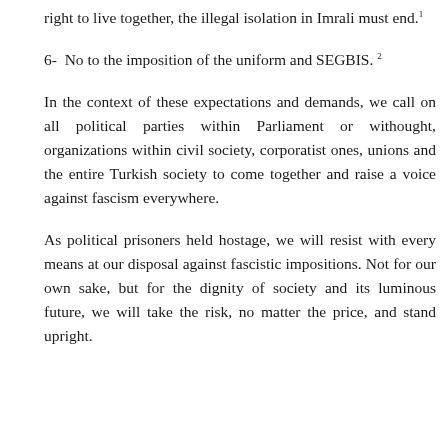right to live together, the illegal isolation in Imrali must end.¹
6- No to the imposition of the uniform and SEGBIS.²
In the context of these expectations and demands, we call on all political parties within Parliament or withought, organizations within civil society, corporatist ones, unions and the entire Turkish society to come together and raise a voice against fascism everywhere.
As political prisoners held hostage, we will resist with every means at our disposal against fascistic impositions. Not for our own sake, but for the dignity of society and its luminous future, we will take the risk, no matter the price, and stand upright.